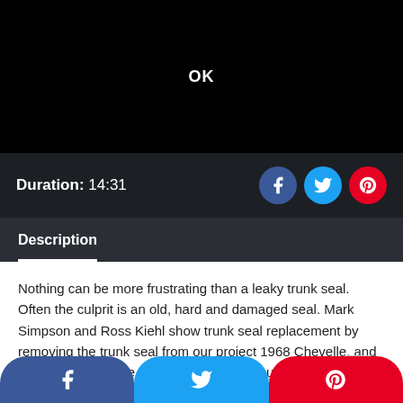[Figure (screenshot): Black video player area with OK text in the center]
Duration: 14:31
[Figure (other): Social share icons: Facebook (blue circle), Twitter (blue circle), Pinterest (red circle)]
Description
Nothing can be more frustrating than a leaky trunk seal. Often the culprit is an old, hard and damaged seal. Mark Simpson and Ross Kiehl show trunk seal replacement by removing the trunk seal from our project 1968 Chevelle, and then go through the process of cleaning out the channel, removing rust in the channel and priming and painting the channel. Then the team installs a new
[Figure (other): Comment/message bubble overlay button in bottom right of description]
[Figure (other): Bottom social share bar with Facebook, Twitter, and Pinterest buttons]